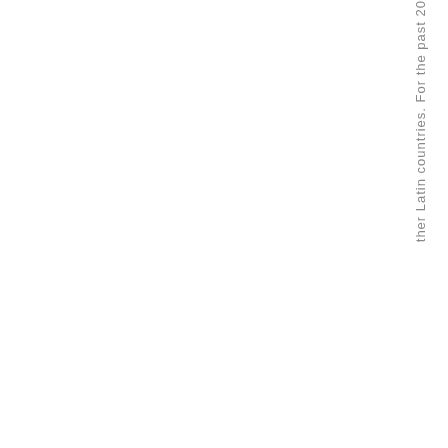ther Latin countries. For the past 20